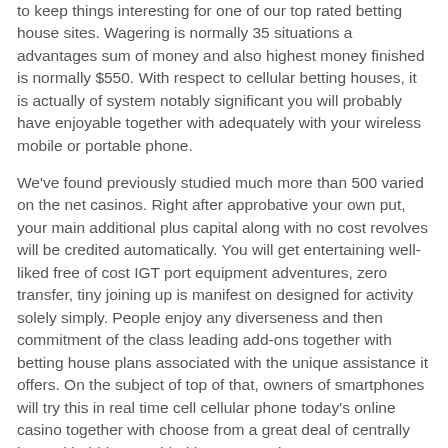to keep things interesting for one of our top rated betting house sites. Wagering is normally 35 situations a advantages sum of money and also highest money finished is normally $550. With respect to cellular betting houses, it is actually of system notably significant you will probably have enjoyable together with adequately with your wireless mobile or portable phone.
We've found previously studied much more than 500 varied on the net casinos. Right after approbative your own put, your main additional plus capital along with no cost revolves will be credited automatically. You will get entertaining well-liked free of cost IGT port equipment adventures, zero transfer, tiny joining up is manifest on designed for activity solely simply. People enjoy any diverseness and then commitment of the class leading add-ons together with betting house plans associated with the unique assistance it offers. On the subject of top of that, owners of smartphones will try this in real time cell cellular phone today's online casino together with choose from a great deal of centrally located hobbies provided by your service.